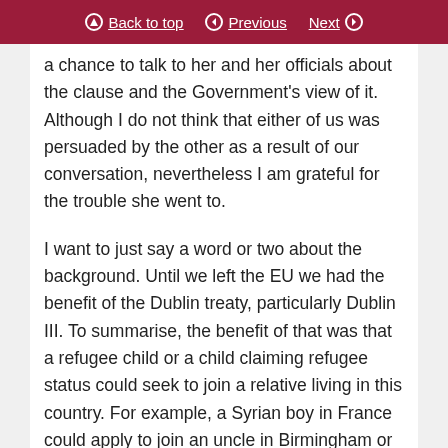Back to top   Previous   Next
a chance to talk to her and her officials about the clause and the Government’s view of it. Although I do not think that either of us was persuaded by the other as a result of our conversation, nevertheless I am grateful for the trouble she went to.
I want to just say a word or two about the background. Until we left the EU we had the benefit of the Dublin treaty, particularly Dublin III. To summarise, the benefit of that was that a refugee child or a child claiming refugee status could seek to join a relative living in this country. For example, a Syrian boy in France could apply to join an uncle in Birmingham or Manchester. That worked fairly well. The figures show that it was quite successful and it was an important part of reuniting families.